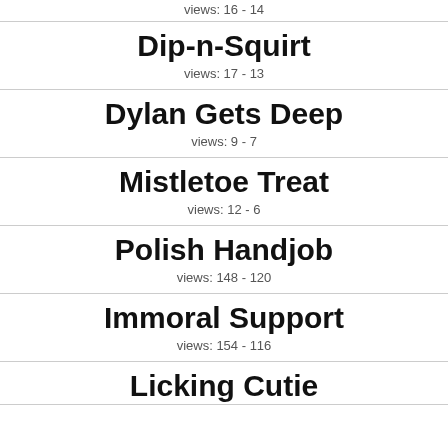views: 16 - 14
Dip-n-Squirt
views: 17 - 13
Dylan Gets Deep
views: 9 - 7
Mistletoe Treat
views: 12 - 6
Polish Handjob
views: 148 - 120
Immoral Support
views: 154 - 116
Licking Cutie